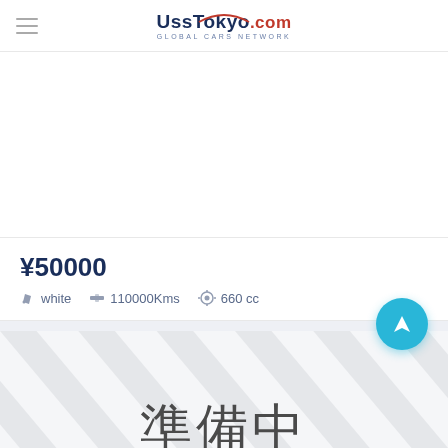UssTokyο.com — Global Cars Network
[Figure (photo): Car image placeholder (white background, empty vehicle listing image area)]
¥50000
white  110000Kms  660 cc
[Figure (photo): Car image placeholder with diagonal stripe pattern and Japanese text '準備中' (Junbi-chuu / Coming Soon / In Preparation)]